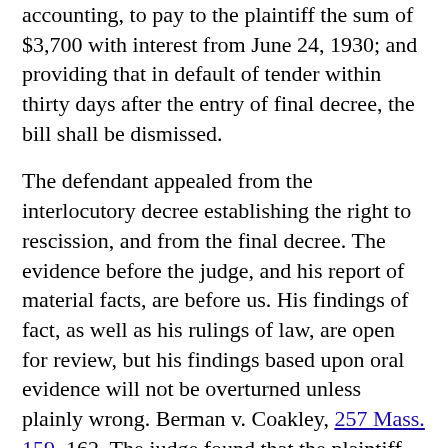accounting, to pay to the plaintiff the sum of $3,700 with interest from June 24, 1930; and providing that in default of tender within thirty days after the entry of final decree, the bill shall be dismissed.
The defendant appealed from the interlocutory decree establishing the right to rescission, and from the final decree. The evidence before the judge, and his report of material facts, are before us. His findings of fact, as well as his rulings of law, are open for review, but his findings based upon oral evidence will not be overturned unless plainly wrong. Berman v. Coakley, 257 Mass. 159, 162. The judge found that the plaintiff was induced to make the exchange by false representations, made by the defendant as of his own knowledge with intent that the plaintiff should act upon them, to the effect that the rents stated in leases given